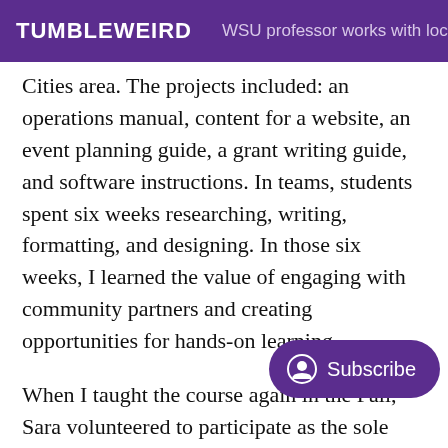TUMBLEWEIRD  WSU professor works with local
Cities area. The projects included: an operations manual, content for a website, an event planning guide, a grant writing guide, and software instructions. In teams, students spent six weeks researching, writing, formatting, and designing. In those six weeks, I learned the value of engaging with community partners and creating opportunities for hands-on learning.
When I taught the course again in the Fall, Sara volunteered to participate as the sole client for two classes. One of the projects Sara task with involved Tri-City Area Gamin gaming to build an inclusive community. Anyone who
[Figure (other): Subscribe button overlay with person/user icon]